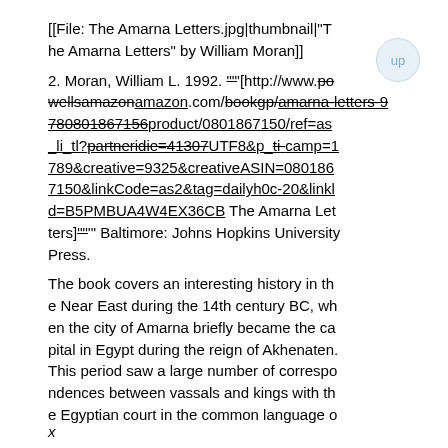[[File: The Amarna Letters.jpg|thumbnail|"The Amarna Letters" by William Moran]]
2. Moran, William L. 1992. ""'[http://www.powellsamazon.com/bookgp/amarna-letters-9780801867156product/0801867150/ref=as_li_tl?partneride=41307UTF8&p_ti-camp=1789&creative=9325&creativeASIN=0801867150&linkCode=as2&tag=dailyh0c-20&linkId=B5PMBUA4W4EX36CB The Amarna Letters]""" Baltimore: Johns Hopkins University Press.
The book covers an interesting history in the Near East during the 14th century BC, when the city of Amarna briefly became the capital in Egypt during the reign of Akhenaten. This period saw a large number of correspondences between vassals and kings with the Egyptian court in the common language o